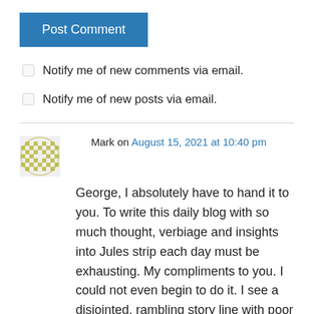Post Comment
Notify me of new comments via email.
Notify me of new posts via email.
Mark on August 15, 2021 at 10:40 pm
George, I absolutely have to hand it to you. To write this daily blog with so much thought, verbiage and insights into Jules strip each day must be exhausting. My compliments to you. I could not even begin to do it. I see a disjointed, rambling story line with poor artwork. You see something remarkably different! I glance at the strip each morning in the Star Trib. Many times I